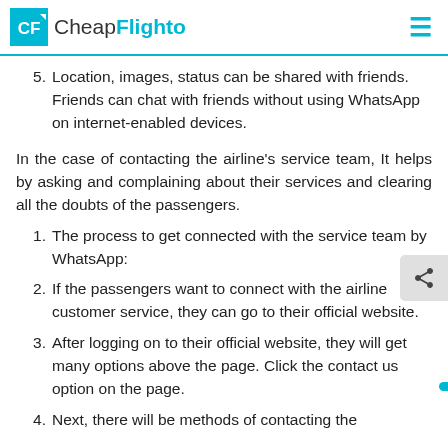CheapFlighto
5. Location, images, status can be shared with friends. Friends can chat with friends without using WhatsApp on internet-enabled devices.
In the case of contacting the airline's service team, It helps by asking and complaining about their services and clearing all the doubts of the passengers.
1. The process to get connected with the service team by WhatsApp:
2. If the passengers want to connect with the airline customer service, they can go to their official website.
3. After logging on to their official website, they will get many options above the page. Click the contact us option on the page.
4. Next, there will be methods of contacting the